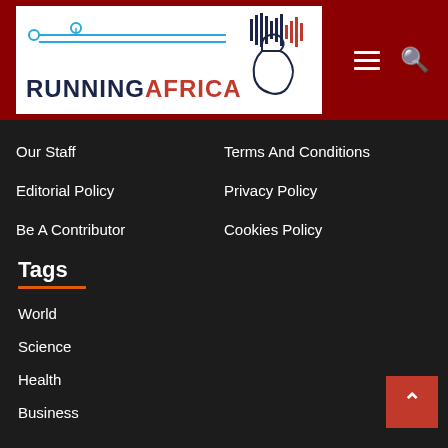[Figure (logo): Running Africa logo with dark blue 'RUNNING' and red 'AFRICA' text, stylized Africa continent icon with waveform lines, on white background within dark red header bar]
Our Staff
Terms And Conditions
Editorial Policy
Privacy Policy
Be A Contributor
Cookies Policy
Tags
World
Science
Health
Business